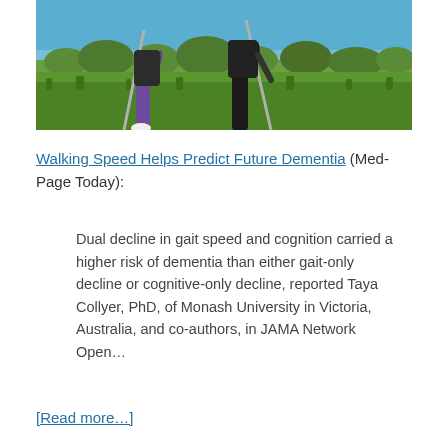[Figure (photo): Two people Nordic walking with poles across a grassy field under a blue sky]
Walking Speed Helps Predict Future Dementia (Med-Page Today):
Dual decline in gait speed and cognition carried a higher risk of dementia than either gait-only decline or cognitive-only decline, reported Taya Collyer, PhD, of Monash University in Victoria, Australia, and co-authors, in JAMA Network Open…
[Read more…]